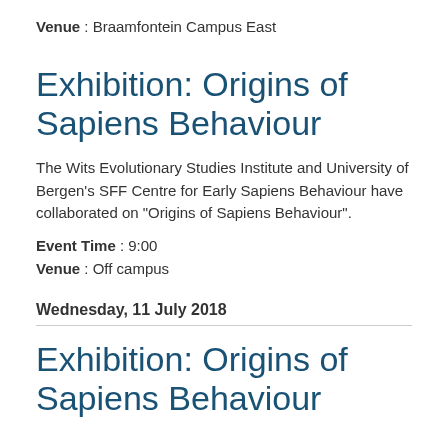Venue : Braamfontein Campus East
Exhibition: Origins of Sapiens Behaviour
The Wits Evolutionary Studies Institute and University of Bergen's SFF Centre for Early Sapiens Behaviour have collaborated on "Origins of Sapiens Behaviour".
Event Time : 9:00
Venue : Off campus
Wednesday, 11 July 2018
Exhibition: Origins of Sapiens Behaviour